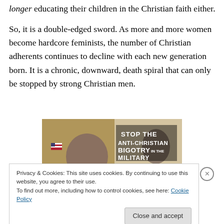longer educating their children in the Christian faith either.

So, it is a double-edged sword. As more and more women become hardcore feminists, the number of Christian adherents continues to decline with each new generation born. It is a chronic, downward, death spiral that can only be stopped by strong Christian men.
[Figure (photo): Photo of military personnel bowing heads, with text overlay reading 'STOP THE ANTI-CHRISTIAN BIGOTRY IN THE MILITARY']
Privacy & Cookies: This site uses cookies. By continuing to use this website, you agree to their use.
To find out more, including how to control cookies, see here: Cookie Policy
Close and accept